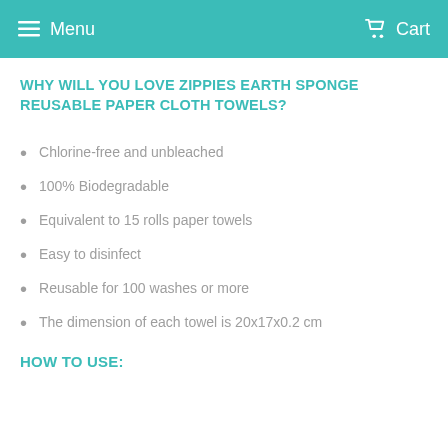Menu   Cart
WHY WILL YOU LOVE ZIPPIES EARTH SPONGE REUSABLE PAPER CLOTH TOWELS?
Chlorine-free and unbleached
100% Biodegradable
Equivalent to 15 rolls paper towels
Easy to disinfect
Reusable for 100 washes or more
The dimension of each towel is 20x17x0.2 cm
HOW TO USE: